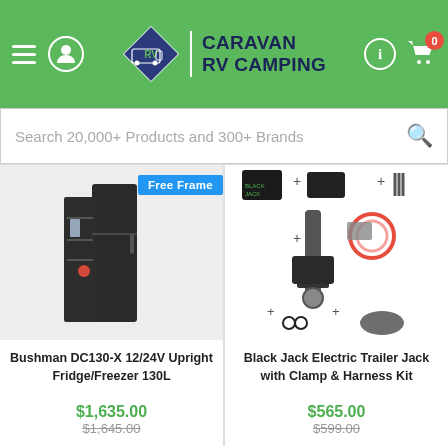Caravan RV Camping
Search 20,000+ Products and 300+ Brands
[Figure (photo): Bushman DC130-X 12/24V Upright Fridge/Freezer 130L product image with 'Free Frame' badge]
Bushman DC130-X 12/24V Upright Fridge/Freezer 130L
$1,635.00
$1,645.00
[Figure (photo): Black Jack Electric Trailer Jack with Clamp & Harness Kit product bundle image]
Black Jack Electric Trailer Jack with Clamp & Harness Kit
$565.00
$599.00